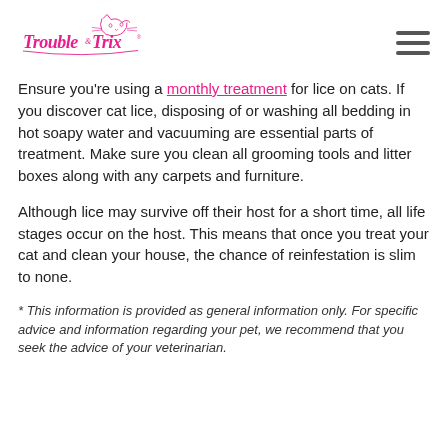[Figure (logo): Trouble & Trix logo in pink cursive font with a cartoon cat illustration]
Ensure you're using a monthly treatment for lice on cats. If you discover cat lice, disposing of or washing all bedding in hot soapy water and vacuuming are essential parts of treatment. Make sure you clean all grooming tools and litter boxes along with any carpets and furniture.
Although lice may survive off their host for a short time, all life stages occur on the host. This means that once you treat your cat and clean your house, the chance of reinfestation is slim to none.
* This information is provided as general information only. For specific advice and information regarding your pet, we recommend that you seek the advice of your veterinarian.